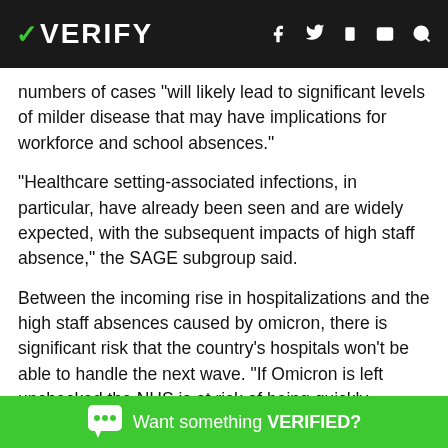VERIFY
numbers of cases “will likely lead to significant levels of milder disease that may have implications for workforce and school absences.”
“Healthcare setting-associated infections, in particular, have already been seen and are widely expected, with the subsequent impacts of high staff absence,” the SAGE subgroup said.
Between the incoming rise in hospitalizations and the high staff absences caused by omicron, there is significant risk that the country’s hospitals won’t be able to handle the next wave. “If Omicron is left unchecked the NHS is at risk of being quickly overwhelmed,” said a release from the prime minister’s office
Want something VERIFIED?